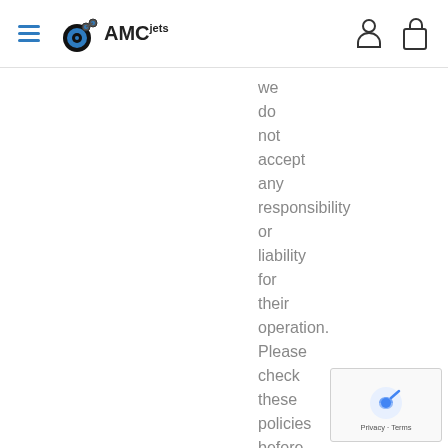AMCjets
we
do
not
accept
any
responsibility
or
liability
for
their
operation.
Please
check
these
policies
before
you
submit